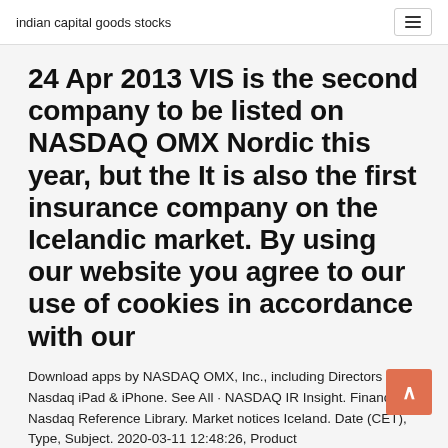indian capital goods stocks
24 Apr 2013 VIS is the second company to be listed on NASDAQ OMX Nordic this year, but the It is also the first insurance company on the Icelandic market. By using our website you agree to our use of cookies in accordance with our
Download apps by NASDAQ OMX, Inc., including Directors Desk, Nasdaq iPad & iPhone. See All · NASDAQ IR Insight. Finance. Nasdaq Reference Library. Market notices Iceland. Date (CET), Type, Subject. 2020-03-11 12:48:26, Product
In July, Nasdaq Futures Market